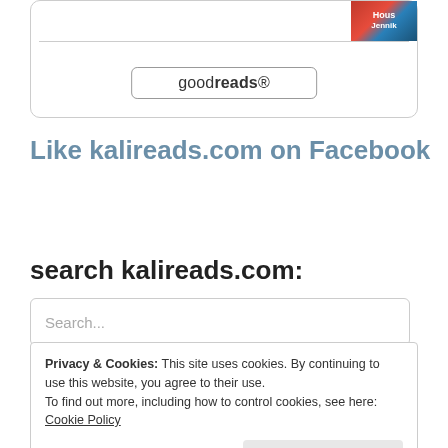[Figure (logo): Goodreads widget with book thumbnail, horizontal divider, and goodreads button]
Like kalireads.com on Facebook
search kalireads.com:
Search...
Privacy & Cookies: This site uses cookies. By continuing to use this website, you agree to their use. To find out more, including how to control cookies, see here: Cookie Policy
Close and accept